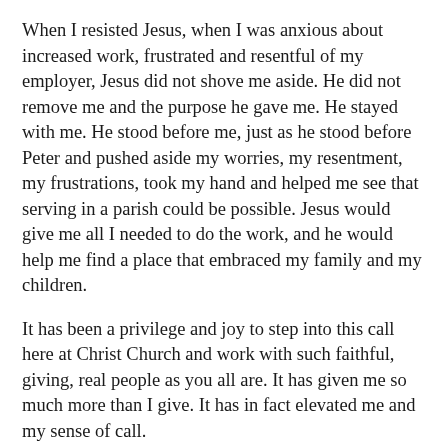When I resisted Jesus, when I was anxious about increased work, frustrated and resentful of my employer, Jesus did not shove me aside. He did not remove me and the purpose he gave me. He stayed with me. He stood before me, just as he stood before Peter and pushed aside my worries, my resentment, my frustrations, took my hand and helped me see that serving in a parish could be possible. Jesus would give me all I needed to do the work, and he would help me find a place that embraced my family and my children.
It has been a privilege and joy to step into this call here at Christ Church and work with such faithful, giving, real people as you all are. It has given me so much more than I give. It has in fact elevated me and my sense of call.
When we fight God, God does not shove us to the side...